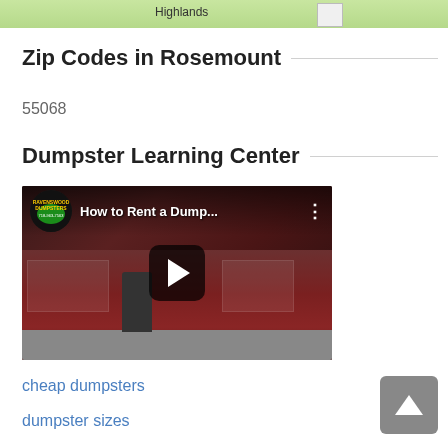[Figure (map): Partial map showing Highlands area, top strip of a Google Maps view]
Zip Codes in Rosemount
55068
Dumpster Learning Center
[Figure (screenshot): YouTube video thumbnail: 'How to Rent a Dump...' by Ravenswood Dumpsters, showing a man standing next to large red dumpsters with a play button overlay]
cheap dumpsters
dumpster sizes